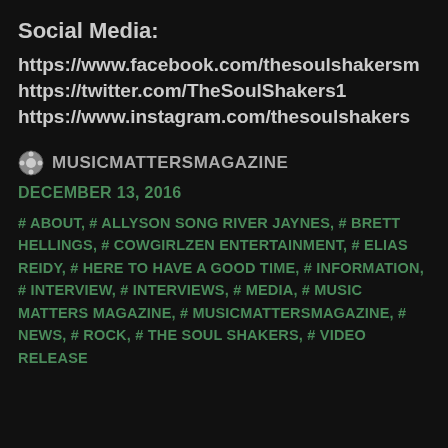Social Media:
https://www.facebook.com/thesoulshakersm
https://twitter.com/TheSoulShakers1
https://www.instagram.com/thesoulshakers
🎯 MUSICMATTERSMAGAZINE
DECEMBER 13, 2016
# ABOUT, # ALLYSON SONG RIVER JAYNES, # BRETT HELLINGS, # COWGIRLZEN ENTERTAINMENT, # ELIAS REIDY, # HERE TO HAVE A GOOD TIME, # INFORMATION, # INTERVIEW, # INTERVIEWS, # MEDIA, # MUSIC MATTERS MAGAZINE, # MUSICMATTERSMAGAZINE, # NEWS, # ROCK, # THE SOUL SHAKERS, # VIDEO RELEASE